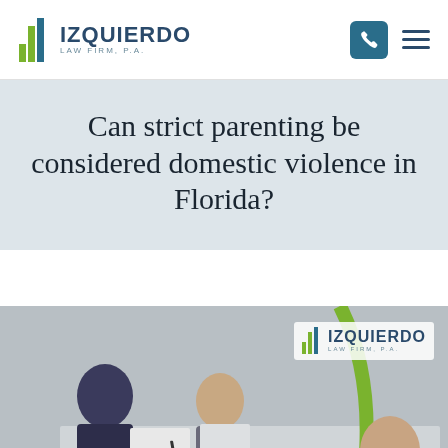[Figure (logo): Izquierdo Law Firm, P.A. logo with bar chart graphic and teal phone button and hamburger menu]
Can strict parenting be considered domestic violence in Florida?
[Figure (photo): Photo of people at a meeting table with Izquierdo Law Firm logo overlay, partially visible]